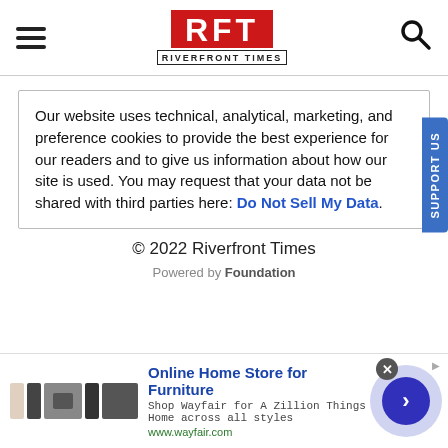RFT RIVERFRONT TIMES
Our website uses technical, analytical, marketing, and preference cookies to provide the best experience for our readers and to give us information about how our site is used. You may request that your data not be shared with third parties here: Do Not Sell My Data.
© 2022 Riverfront Times
Powered by Foundation
[Figure (infographic): Advertisement banner for Wayfair: Online Home Store for Furniture, with thumbnail images, description text, URL www.wayfair.com, and a circular arrow button.]